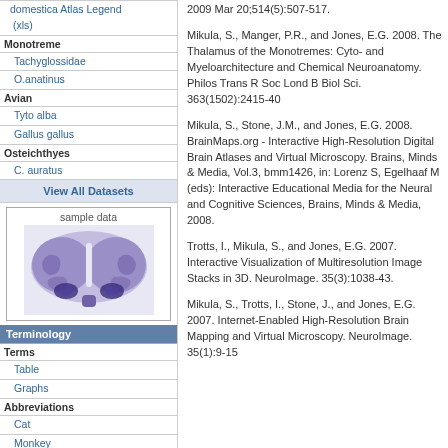domestica Atlas Legend (xls)
Monotreme
Tachyglossidae
O.anatinus
Avian
Tyto alba
Gallus gallus
Osteichthyes
C. auratus
View All Datasets
[Figure (photo): Sample data image showing a brain coronal section with blue/purple staining]
Terminology
Terms
Table
Graphs
Abbreviations
Cat
Monkey
Monkey sulci
Monkey gyrii
Owl
Antibodies
Antibody Database
2009 Mar 20;514(5):507-517.
Mikula, S., Manger, P.R., and Jones, E.G. 2008. The Thalamus of the Monotremes: Cyto- and Myeloarchitecture and Chemical Neuroanatomy. Philos Trans R Soc Lond B Biol Sci. 363(1502):2415-40
Mikula, S., Stone, J.M., and Jones, E.G. 2008. BrainMaps.org - Interactive High-Resolution Digital Brain Atlases and Virtual Microscopy. Brains, Minds & Media, Vol.3, bmm1426, in: Lorenz S, Egelhaaf M (eds): Interactive Educational Media for the Neural and Cognitive Sciences, Brains, Minds & Media, 2008.
Trotts, I., Mikula, S., and Jones, E.G. 2007. Interactive Visualization of Multiresolution Image Stacks in 3D. NeuroImage. 35(3):1038-43.
Mikula, S., Trotts, I., Stone, J., and Jones, E.G. 2007. Internet-Enabled High-Resolution Brain Mapping and Virtual Microscopy. NeuroImage. 35(1):9-15